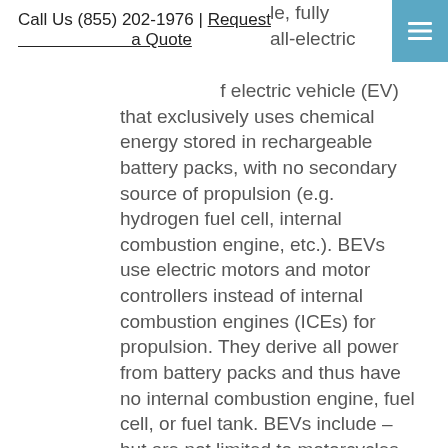Call Us (855) 202-1976 | Request a Quote
le, fully all-electric f electric vehicle (EV) that exclusively uses chemical energy stored in rechargeable battery packs, with no secondary source of propulsion (e.g. hydrogen fuel cell, internal combustion engine, etc.). BEVs use electric motors and motor controllers instead of internal combustion engines (ICEs) for propulsion. They derive all power from battery packs and thus have no internal combustion engine, fuel cell, or fuel tank. BEVs include – but are not limited to motorcycles, bicycles, scooters, skateboards, railcars, watercraft, forklifts,